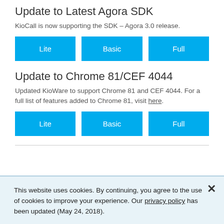Update to Latest Agora SDK
KioCall is now supporting the SDK – Agora 3.0 release.
[Figure (other): Three blue buttons labeled Lite, Basic, Full]
Update to Chrome 81/CEF 4044
Updated KioWare to support Chrome 81 and CEF 4044. For a full list of features added to Chrome 81, visit here.
[Figure (other): Three blue buttons labeled Lite, Basic, Full]
This website uses cookies. By continuing, you agree to the use of cookies to improve your experience. Our privacy policy has been updated (May 24, 2018).